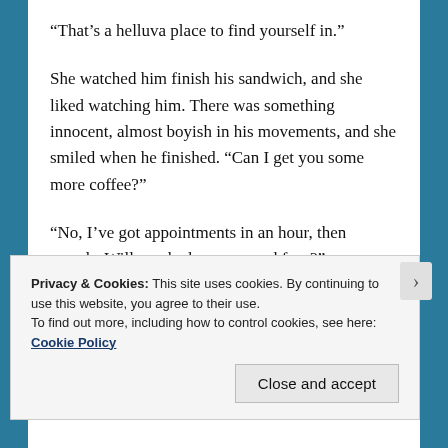“That’s a helluva place to find yourself in.”
She watched him finish his sandwich, and she liked watching him. There was something innocent, almost boyish in his movements, and she smiled when he finished. “Can I get you some more coffee?”
“No, I’ve got appointments in an hour, then rounds. Will you be home around four?”
She nodded her head.
“How much to get square with the house?”
Privacy & Cookies: This site uses cookies. By continuing to use this website, you agree to their use.
To find out more, including how to control cookies, see here: Cookie Policy
Close and accept